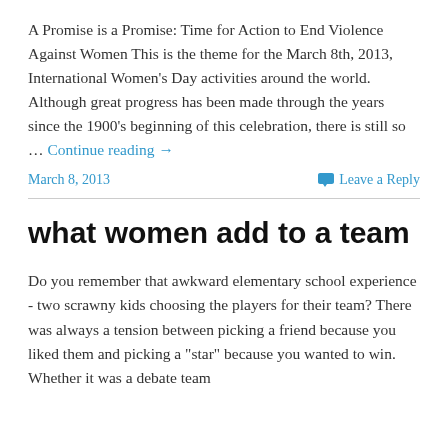A Promise is a Promise: Time for Action to End Violence Against Women This is the theme for the March 8th, 2013, International Women's Day activities around the world. Although great progress has been made through the years since the 1900's beginning of this celebration, there is still so … Continue reading →
March 8, 2013   Leave a Reply
what women add to a team
Do you remember that awkward elementary school experience - two scrawny kids choosing the players for their team? There was always a tension between picking a friend because you liked them and picking a "star" because you wanted to win. Whether it was a debate team